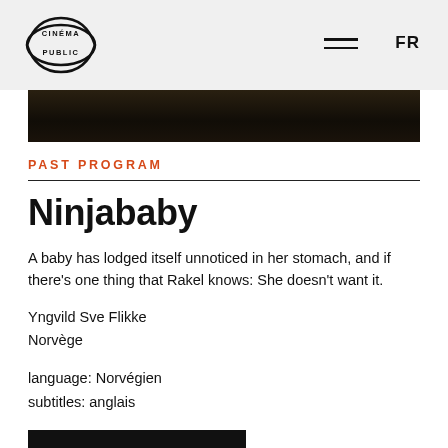Cinéma Public — FR
[Figure (photo): Dark film still image strip showing people in low lighting]
PAST PROGRAM
Ninjababy
A baby has lodged itself unnoticed in her stomach, and if there's one thing that Rakel knows: She doesn't want it.
Yngvild Sve Flikke
Norvège
language: Norvégien
subtitles: anglais
103 min